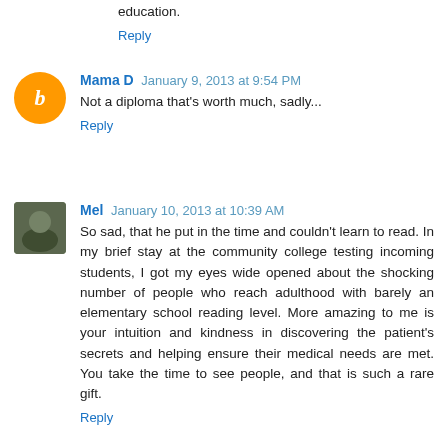education.
Reply
Mama D  January 9, 2013 at 9:54 PM
Not a diploma that's worth much, sadly...
Reply
Mel  January 10, 2013 at 10:39 AM
So sad, that he put in the time and couldn't learn to read. In my brief stay at the community college testing incoming students, I got my eyes wide opened about the shocking number of people who reach adulthood with barely an elementary school reading level. More amazing to me is your intuition and kindness in discovering the patient's secrets and helping ensure their medical needs are met. You take the time to see people, and that is such a rare gift.
Reply